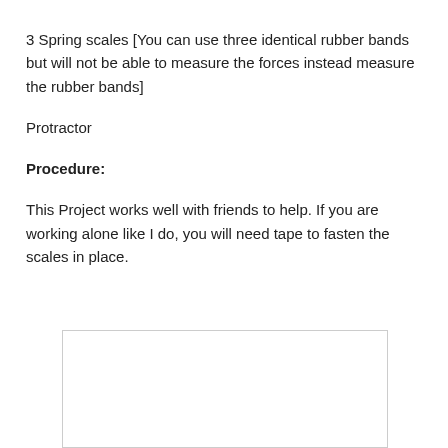3 Spring scales [You can use three identical rubber bands but will not be able to measure the forces instead measure the rubber bands]
Protractor
Procedure:
This Project works well with friends to help. If you are working alone like I do, you will need tape to fasten the scales in place.
[Figure (photo): A rectangular image placeholder box with a light border, appearing to show a photograph related to the procedure.]